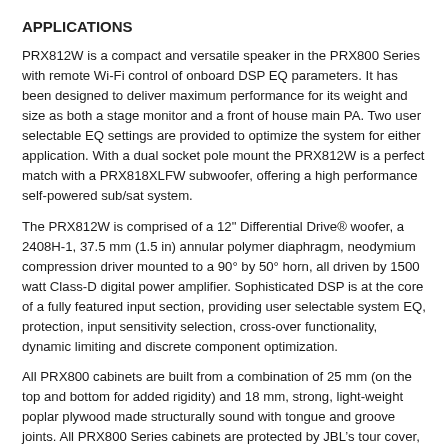APPLICATIONS
PRX812W is a compact and versatile speaker in the PRX800 Series with remote Wi-Fi control of onboard DSP EQ parameters. It has been designed to deliver maximum performance for its weight and size as both a stage monitor and a front of house main PA. Two user selectable EQ settings are provided to optimize the system for either application. With a dual socket pole mount the PRX812W is a perfect match with a PRX818XLFW subwoofer, offering a high performance self-powered sub/sat system.
The PRX812W is comprised of a 12" Differential Drive® woofer, a 2408H-1, 37.5 mm (1.5 in) annular polymer diaphragm, neodymium compression driver mounted to a 90° by 50° horn, all driven by 1500 watt Class-D digital power amplifier. Sophisticated DSP is at the core of a fully featured input section, providing user selectable system EQ, protection, input sensitivity selection, cross-over functionality, dynamic limiting and discrete component optimization.
All PRX800 cabinets are built from a combination of 25 mm (on the top and bottom for added rigidity) and 18 mm, strong, light-weight poplar plywood made structurally sound with tongue and groove joints. All PRX800 Series cabinets are protected by JBL’s tour cover, DuraFlex™ finish. Grills are made of fuse plastic resistant 16...